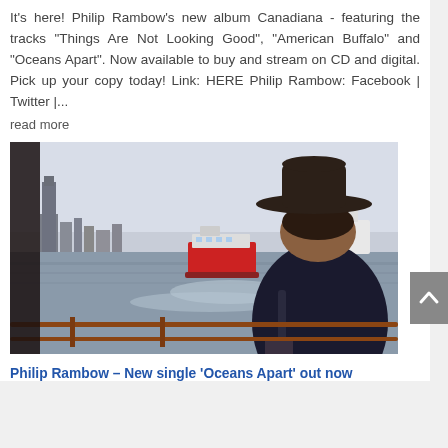It's here! Philip Rambow's new album Canadiana - featuring the tracks "Things Are Not Looking Good", "American Buffalo" and "Oceans Apart". Now available to buy and stream on CD and digital. Pick up your copy today! Link: HERE Philip Rambow: Facebook | Twitter |...
read more
[Figure (photo): A man wearing a wide-brimmed hat viewed from behind, looking out at a river with a red and white ferry boat in the water. City skyline visible in the background. Wooden railing in foreground.]
Philip Rambow – New single 'Oceans Apart' out now